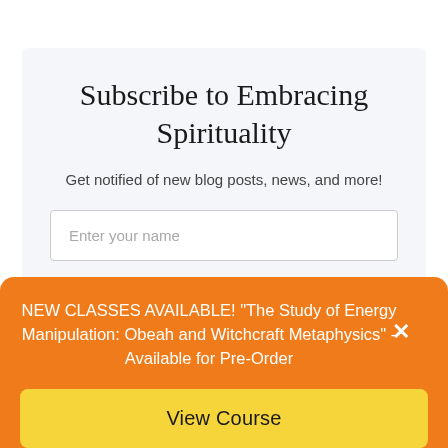Subscribe to Embracing Spirituality
Get notified of new blog posts, news, and more!
Enter your name
NEW CLASSES AVAILABLE! "The Study of Energy Manipulation: Obeah and Witchcraft Metaphysics" - Available for Pre-Order
View Course
submitted through this form.